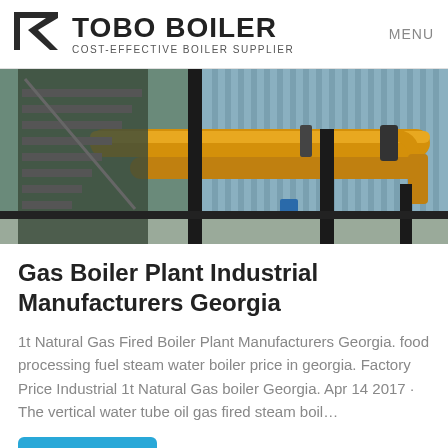TOBO BOILER COST-EFFECTIVE BOILER SUPPLIER | MENU
[Figure (photo): Industrial gas boiler plant installation showing yellow pipes and metal structure inside a corrugated metal building]
Gas Boiler Plant Industrial Manufacturers Georgia
1t Natural Gas Fired Boiler Plant Manufacturers Georgia. food processing fuel steam water boiler price in georgia. Factory Price Industrial 1t Natural Gas boiler Georgia. Apr 14 2017 · The vertical water tube oil gas fired steam boil…
Get Price